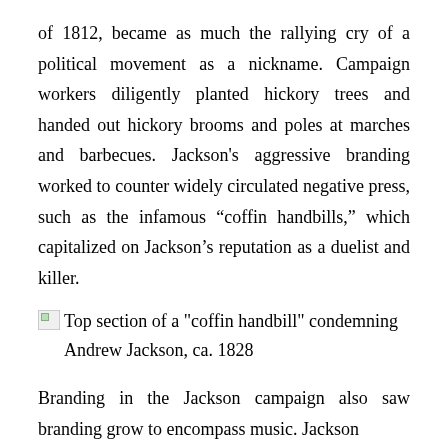of 1812, became as much the rallying cry of a political movement as a nickname. Campaign workers diligently planted hickory trees and handed out hickory brooms and poles at marches and barbecues. Jackson's aggressive branding worked to counter widely circulated negative press, such as the infamous “coffin handbills,” which capitalized on Jackson’s reputation as a duelist and killer.
Top section of a "coffin handbill" condemning Andrew Jackson, ca. 1828
Branding in the Jackson campaign also saw branding grow to encompass music. Jackson